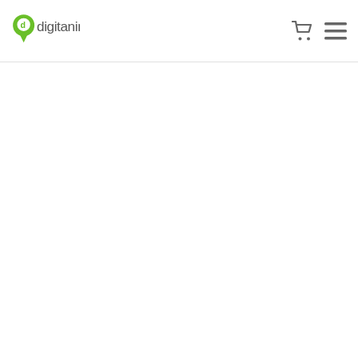[Figure (logo): Digitanimal logo — green location pin with letter D, followed by grey lowercase text 'digitanimal']